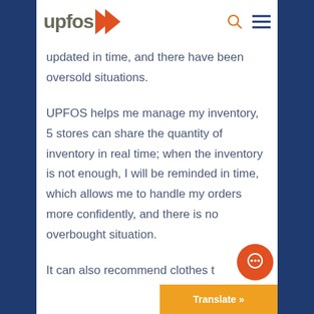upfos
updated in time, and there have been oversold situations.
UPFOS helps me manage my inventory, 5 stores can share the quantity of inventory in real time; when the inventory is not enough, I will be reminded in time, which allows me to handle my orders more confidently, and there is no overbought situation.
It can also recommend clothes t…